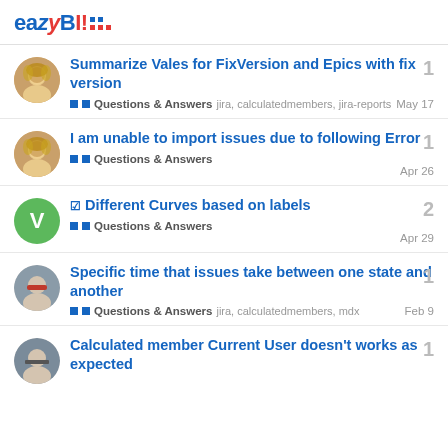[Figure (logo): eazyBI logo with stylized text and colored dot grid]
Summarize Vales for FixVersion and Epics with fix version | Questions & Answers | jira, calculatedmembers, jira-reports | May 17 | 1 reply
I am unable to import issues due to following Error | Questions & Answers | Apr 26 | 1 reply
☑ Different Curves based on labels | Questions & Answers | Apr 29 | 2 replies
Specific time that issues take between one state and another | Questions & Answers | jira, calculatedmembers, mdx | Feb 9 | 1 reply
Calculated member Current User doesn't works as expected | 1 reply